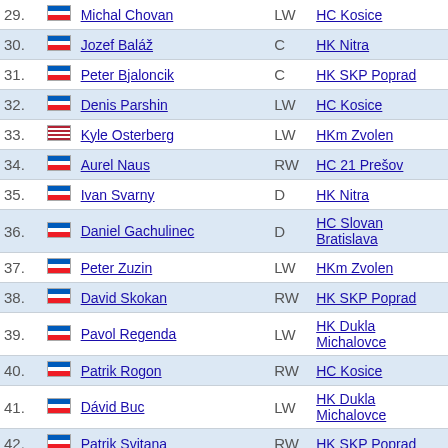| # | Flag | Name | Pos | Team |
| --- | --- | --- | --- | --- |
| 29. | SK | Michal Chovan | LW | HC Kosice |
| 30. | SK | Jozef Baláž | C | HK Nitra |
| 31. | SK | Peter Bjaloncik | C | HK SKP Poprad |
| 32. | RU | Denis Parshin | LW | HC Kosice |
| 33. | US | Kyle Osterberg | LW | HKm Zvolen |
| 34. | SK | Aurel Naus | RW | HC 21 Prešov |
| 35. | SK | Ivan Svarny | D | HK Nitra |
| 36. | SK | Daniel Gachulinec | D | HC Slovan Bratislava |
| 37. | SK | Peter Zuzin | LW | HKm Zvolen |
| 38. | SK | David Skokan | RW | HK SKP Poprad |
| 39. | SK | Pavol Regenda | LW | HK Dukla Michalovce |
| 40. | SK | Patrik Rogon | RW | HC Kosice |
| 41. | SK | Dávid Buc | LW | HK Dukla Michalovce |
| 42. | SK | Patrik Svitana | RW | HK SKP Poprad |
| 43. | UA | Vitali Lyalka | F | HC 21 Prešov |
| 44. | SK | Milan Kytnar | C | HC Slovan Bratislava |